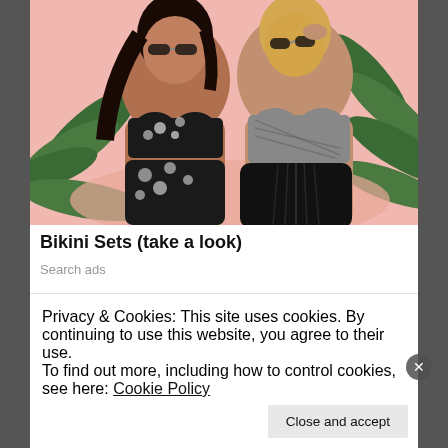[Figure (photo): Two plus-size women wearing bikinis, posed against a pink background with palm leaves. Left woman wears a black and white floral bikini, right woman wears a grey/black textured bikini. Both wear sunglasses.]
Bikini Sets (take a look)
Search ads
SHARE THIS:
Privacy & Cookies: This site uses cookies. By continuing to use this website, you agree to their use.
To find out more, including how to control cookies, see here: Cookie Policy
Close and accept